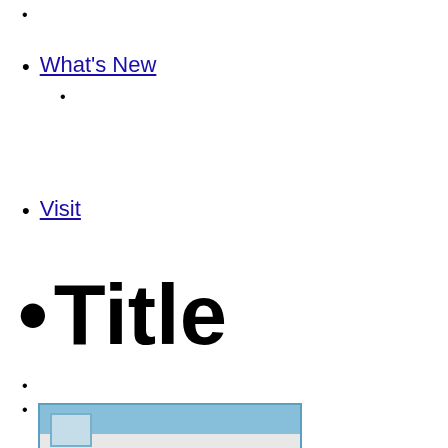What's New
Visit
Title
[Figure (photo): Photo of a MI-BOX storage unit/truck, showing blue sky background and the MI-BOX logo in yellow text on a white surface]